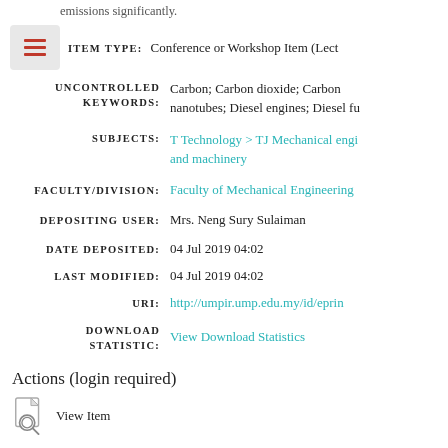emissions significantly.
| Field | Value |
| --- | --- |
| ITEM TYPE: | Conference or Workshop Item (Lect… |
| UNCONTROLLED KEYWORDS: | Carbon; Carbon dioxide; Carbon nanotubes; Diesel engines; Diesel fu… |
| SUBJECTS: | T Technology > TJ Mechanical engi… and machinery |
| FACULTY/DIVISION: | Faculty of Mechanical Engineering |
| DEPOSITING USER: | Mrs. Neng Sury Sulaiman |
| DATE DEPOSITED: | 04 Jul 2019 04:02 |
| LAST MODIFIED: | 04 Jul 2019 04:02 |
| URI: | http://umpir.ump.edu.my/id/eprin… |
| DOWNLOAD STATISTIC: | View Download Statistics |
Actions (login required)
View Item